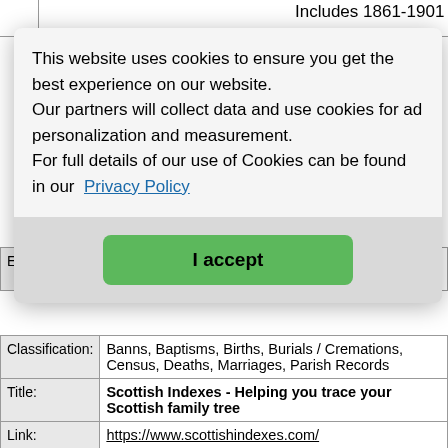Includes 1861-1901 censuses; Scottish
Wills
This website uses cookies to ensure you get the best experience on our website.
Our partners will collect data and use cookies for ad personalization and measurement.
For full details of our use of Cookies can be found in our Privacy Policy
I accept
| Extra Info: | Official Government Source of genealogical data for Scotland. |
| --- | --- |
| Classification: | Banns, Baptisms, Births, Burials / Cremations, Census, Deaths, Marriages, Parish Records |
| Title: | Scottish Indexes - Helping you trace your Scottish family tree |
| Link: | https://www.scottishindexes.com/ |
| Description: | Non-OPR Births/Baptisms, Banns/Marriages and Deaths/Burials |